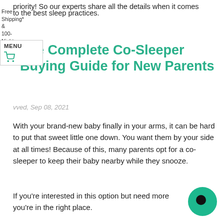priority! So our experts share all the details when it comes
Free
Shipping*
&
100-
Night
Trial
to the best sleep practices.
MENU
The Complete Co-Sleeper Buying Guide for New Parents
vved, Sep 08, 2021
With your brand-new baby finally in your arms, it can be hard to put that sweet little one down. You want them by your side at all times! Because of this, many parents opt for a co-sleeper to keep their baby nearby while they snooze.
If you're interested in this option but need more you're in the right place.